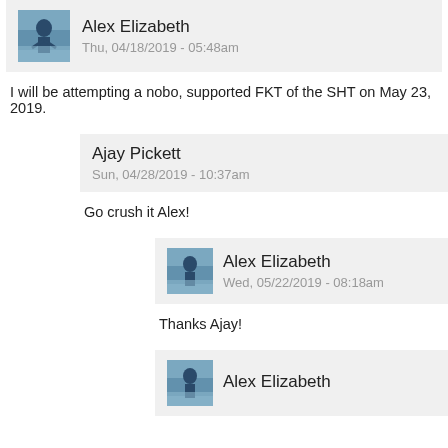Alex Elizabeth
Thu, 04/18/2019 - 05:48am
I will be attempting a nobo, supported FKT of the SHT on May 23, 2019.
Ajay Pickett
Sun, 04/28/2019 - 10:37am
Go crush it Alex!
Alex Elizabeth
Wed, 05/22/2019 - 08:18am
Thanks Ajay!
Alex Elizabeth